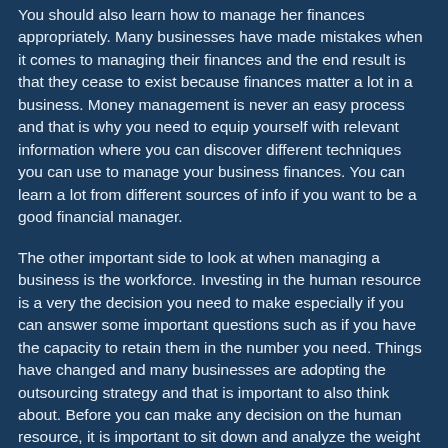You should also learn how to manage her finances appropriately. Many businesses have made mistakes when it comes to managing their finances and the end result is that they cease to exist because finances matter a lot in a business. Money management is never an easy process and that is why you need to equip yourself with relevant information where you can discover different techniques you can use to manage your business finances. You can learn a lot from different sources of info if you want to be a good financial manager.
The other important side to look at when managing a business is the workforce. Investing in the human resource is a very the decision you need to make especially if you can answer some important questions such as if you have the capacity to retain them in the number you need. Things have changed and many businesses are adopting the outsourcing strategy and that is important to also think about. Before you can make any decision on the human resource, it is important to sit down and analyze the weight of each decision and you will learn which one is more beneficial to you and therefore helping you make informed